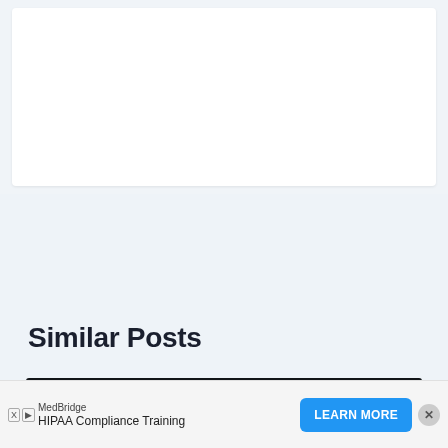[Figure (other): White card area representing content placeholder at top of page]
Similar Posts
[Figure (photo): Dark image strip at bottom, partially cropped, showing beginning of a similar posts thumbnail]
MedBridge
HIPAA Compliance Training
LEARN MORE